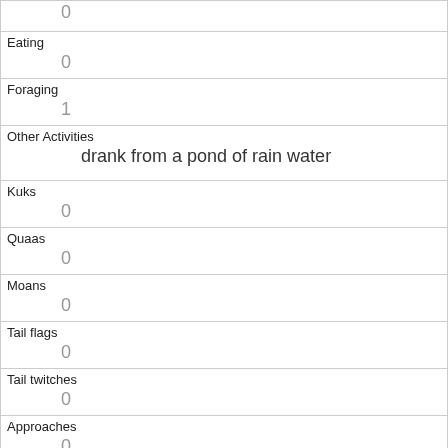|  | 0 |
| Eating | 0 |
| Foraging | 1 |
| Other Activities | drank from a pond of rain water |
| Kuks | 0 |
| Quaas | 0 |
| Moans | 0 |
| Tail flags | 0 |
| Tail twitches | 0 |
| Approaches | 0 |
| Indifferent | 1 |